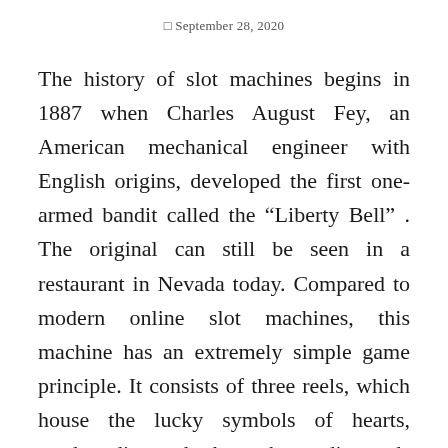□ September 28, 2020
The history of slot machines begins in 1887 when Charles August Fey, an American mechanical engineer with English origins, developed the first one-armed bandit called the “Liberty Bell” . The original can still be seen in a restaurant in Nevada today. Compared to modern online slot machines, this machine has an extremely simple game principle. It consists of three reels, which house the lucky symbols of hearts, spades, diamonds, horseshoes, diamonds and the Liberty Bell. The peculiarity of this invention was the fact that this device could pay out real money. Three Liberty Bells only had to appear for the player to